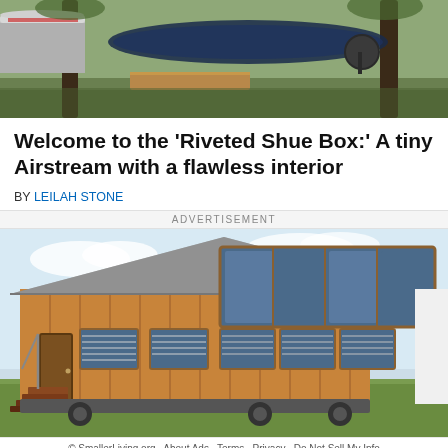[Figure (photo): Aerial/outdoor scene with an Airstream trailer, hammock, and trees viewed from above]
Welcome to the 'Riveted Shue Box:' A tiny Airstream with a flawless interior
BY LEILAH STONE
ADVERTISEMENT
[Figure (photo): Exterior photo of a wooden tiny house on wheels with large windows and a peaked roof, showing wood siding and steps]
© SmallerLiving.org  About Ads  Terms  Privacy  Do Not Sell My Info